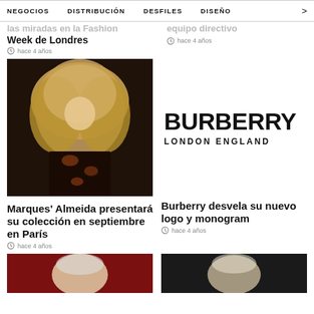NEGOCIOS  DISTRIBUCIÓN  DESFILES  DISEÑO  >
las miradas en la Fashion Week de Londres
equipo directivo
hace 4 años
hace 4 años
[Figure (photo): Fashion model with large voluminous curly blonde hair wearing a black floral dress on a runway]
[Figure (logo): Burberry London England logo in bold black text]
Marques' Almeida presentará su colección en septiembre en París
hace 4 años
Burberry desvela su nuevo logo y monogram
hace 4 años
[Figure (photo): Person with blonde hair on red background, partial view]
[Figure (photo): Person with white/blonde hair on dark background, partial view]